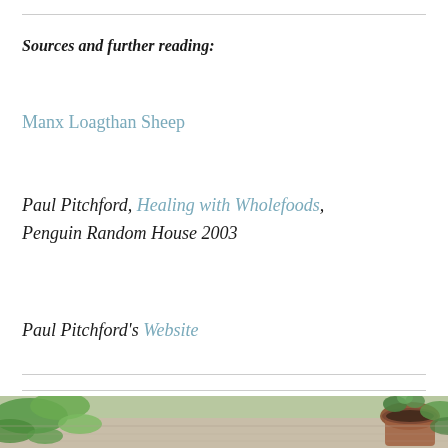Sources and further reading:
Manx Loagthan Sheep
Paul Pitchford, Healing with Wholefoods, Penguin Random House 2003
Paul Pitchford's Website
(German version)
[Figure (photo): Photo strip showing green leaves and a plant in a terracotta pot on a wooden surface.]